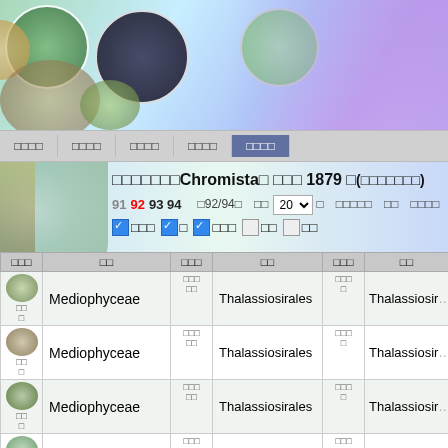[Figure (screenshot): Website header with decorative circular microscopy/nature images on gradient background (blue, green, purple tones)]
Navigation bar with menu items in Japanese/Korean characters
Chromista界 記載 1879 年(生物分類学上)
Page navigation: 91 92 93 94  【92/94】 表示 20 件  先頭ページへ 前ページへ 次ページへ 末尾ページへ
Checkboxes: ✓画像あり ✓科 ✓目科属 □属 □種
| 画像等 | 綱 | 目画像等 | 目 | 科画像等 | 科 |
| --- | --- | --- | --- | --- | --- |
| [image] | Mediophyceae | 目画像等 | Thalassiosirales | 科画像等 | Thalassiosir... |
| [image] | Mediophyceae | 目画像等 | Thalassiosirales | 科画像等 | Thalassiosir... |
| [image] | Mediophyceae | 目画像等 | Thalassiosirales | 科画像等 | Thalassiosir... |
| [image] | Mediophyceae | 目画像等 | Thalassiosirales | 科画像等 | Thalassiosir... |
| [image] | Mediophyceae | 目画像等 | Thalassiosirales | 科画像等 | Thalassiosir... |
| [image] | Mediophyceae | 目画像等 | Thalassiosirales | 科画像等 | Thalassiosir... |